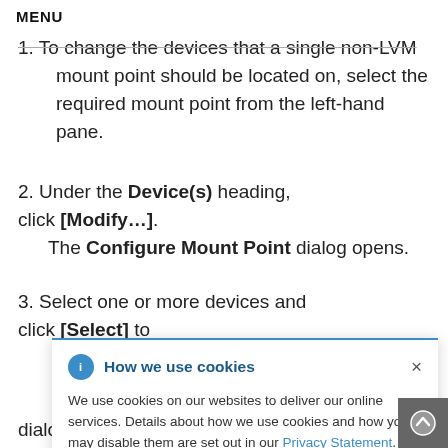MENU
1. To change the devices that a single non-LVM mount point should be located on, select the required mount point from the left-hand pane.
2. Under the Device(s) heading, click [Modify...]. The Configure Mount Point dialog opens.
3. Select one or more devices and click [Select] to ...the ...changes. ...nual ...ge device ...isks
dialog and review disk information.
[Figure (other): Cookie consent banner overlay with blue top border, info icon, title 'How we use cookies', close X button, body text about cookie usage with a Privacy Statement link.]